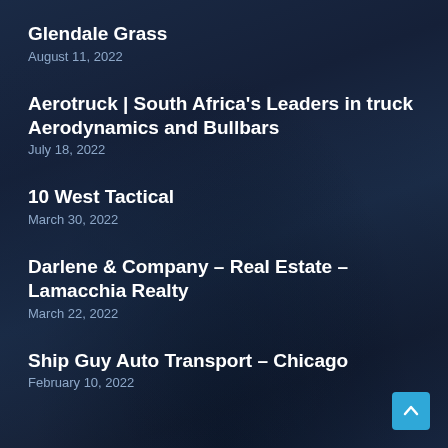Glendale Grass
August 11, 2022
Aerotruck | South Africa's Leaders in truck Aerodynamics and Bullbars
July 18, 2022
10 West Tactical
March 30, 2022
Darlene & Company – Real Estate – Lamacchia Realty
March 22, 2022
Ship Guy Auto Transport – Chicago
February 10, 2022